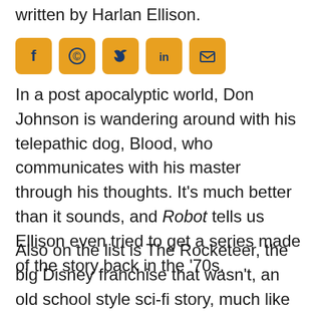written by Harlan Ellison.
[Figure (other): Social media sharing icons row: Facebook, WhatsApp, Twitter, LinkedIn, Email — orange/amber rounded square buttons with dark blue icons]
In a post apocalyptic world, Don Johnson is wandering around with his telepathic dog, Blood, who communicates with his master through his thoughts. It’s much better than it sounds, and Robot tells us Ellison even tried to get a series made of the story back in the ‘70s.
Also on the list is The Rocketeer, the big Disney franchise that wasn’t, an old school style sci-fi story, much like they tried later with